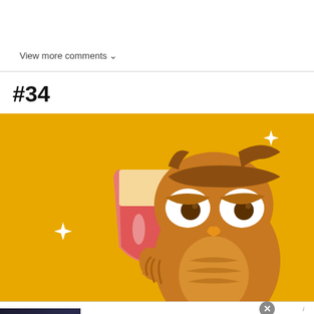View more comments ∨
#34
[Figure (illustration): Cartoon illustration of a brown owl with heavy-lidded eyes holding up a wine glass with pink/red liquid on a golden yellow background. White sparkle stars decorate the background.]
[Figure (screenshot): Advertisement: Women's Fashion | Shop Online | VENUS. Shop the best in women's fashion, clothing, swimwear. venus.com]